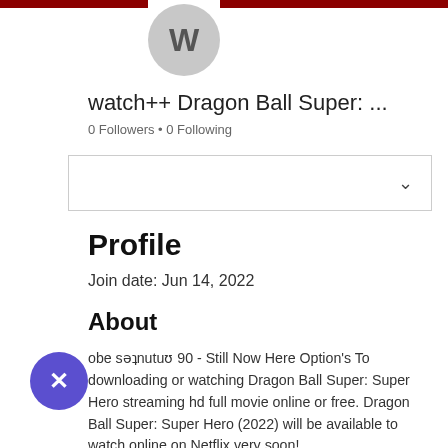[Figure (illustration): User avatar circle with letter W, flanked by dark red horizontal bars at top]
watch++ Dragon Ball Super: ...
0 Followers • 0 Following
[Figure (other): Dropdown selector box with chevron arrow on right]
Profile
Join date: Jun 14, 2022
About
obe setnutur 90 - Still Now Here Option's To downloading or watching Dragon Ball Super: Super Hero streaming hd full movie online or free. Dragon Ball Super: Super Hero (2022) will be available to watch online on Netflix very soon!
[Figure (illustration): Purple circular close/X button in lower left corner]